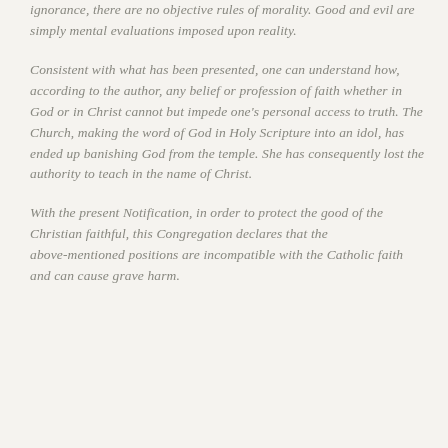ignorance, there are no objective rules of morality. Good and evil are simply mental evaluations imposed upon reality.
Consistent with what has been presented, one can understand how, according to the author, any belief or profession of faith whether in God or in Christ cannot but impede one's personal access to truth. The Church, making the word of God in Holy Scripture into an idol, has ended up banishing God from the temple. She has consequently lost the authority to teach in the name of Christ.
With the present Notification, in order to protect the good of the Christian faithful, this Congregation declares that the above-mentioned positions are incompatible with the Catholic faith and can cause grave harm.